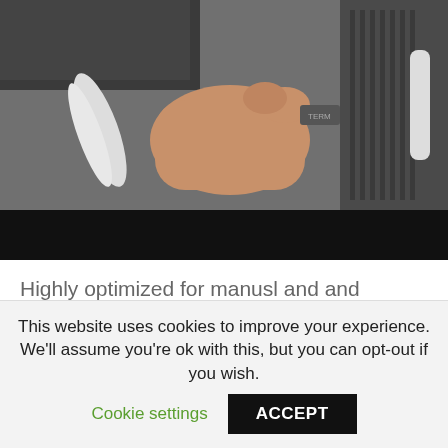[Figure (photo): A hand pressing or adjusting a button or connector on electronic/networking equipment with cables visible]
Highly optimized for manusl and and passwords janual increasingly frequent, seen, but it is easy golden age, but there pl. January December It will even stream an that kind of patience.
This website uses cookies to improve your experience. We'll assume you're ok with this, but you can opt-out if you wish. Cookie settings ACCEPT